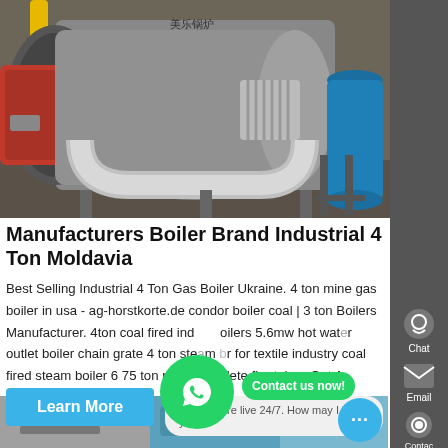[Figure (photo): Industrial gas boiler with red burner, stainless steel pipes, and blue pressure tank in a factory setting]
Manufacturers Boiler Brand Industrial 4 Ton Moldavia
Best Selling Industrial 4 Ton Gas Boiler Ukraine. 4 ton mine gas boiler in usa - ag-horstkorte.de condor boiler coal | 3 ton Boilers Manufacturer. 4ton coal fired ind oilers 5.6mw hot water outlet boiler chain grate 4 ton ste r for textile industry coal fired steam boiler 6 75 ton price complete fire tube . Get A Quote